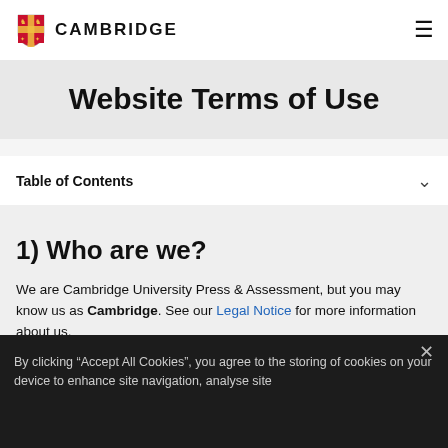CAMBRIDGE
Website Terms of Use
Table of Contents
1) Who are we?
We are Cambridge University Press & Assessment, but you may know us as Cambridge. See our Legal Notice for more information about us.
By clicking “Accept All Cookies”, you agree to the storing of cookies on your device to enhance site navigation, analyse site